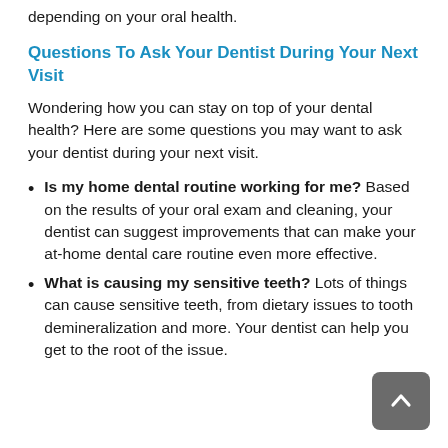routine cleaning. It may be done every 3-6 months, depending on your oral health.
Questions To Ask Your Dentist During Your Next Visit
Wondering how you can stay on top of your dental health? Here are some questions you may want to ask your dentist during your next visit.
Is my home dental routine working for me? Based on the results of your oral exam and cleaning, your dentist can suggest improvements that can make your at-home dental care routine even more effective.
What is causing my sensitive teeth? Lots of things can cause sensitive teeth, from dietary issues to tooth demineralization and more. Your dentist can help you get to the root of the issue.